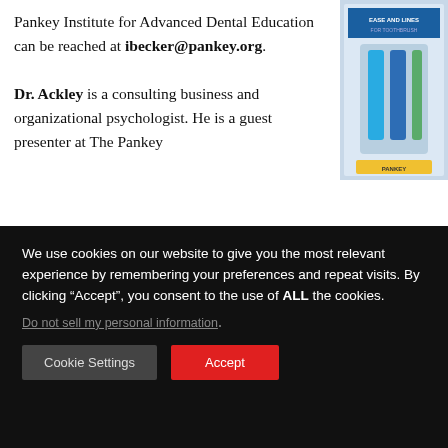Pankey Institute for Advanced Dental Education can be reached at ibecker@pankey.org.
Dr. Ackley is a consulting business and organizational psychologist. He is a guest presenter at The Pankey -1927 or
[Figure (illustration): Product advertisement image showing dental items with blue and white packaging]
[Figure (logo): Glidewell Symposium 2022 logo with a stylized tooth graphic and red/black text]
We use cookies on our website to give you the most relevant experience by remembering your preferences and repeat visits. By clicking “Accept”, you consent to the use of ALL the cookies.
Do not sell my personal information.
Cookie Settings
Accept